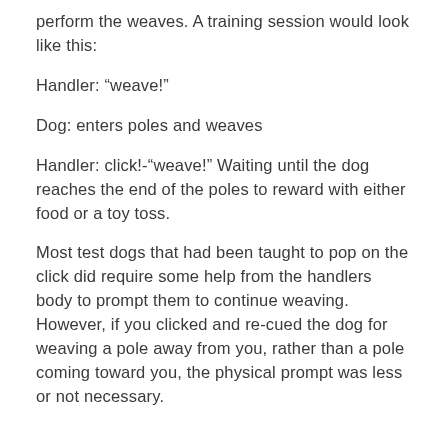perform the weaves. A training session would look like this:
Handler: “weave!”
Dog: enters poles and weaves
Handler: click!-“weave!” Waiting until the dog reaches the end of the poles to reward with either food or a toy toss.
Most test dogs that had been taught to pop on the click did require some help from the handlers body to prompt them to continue weaving. However, if you clicked and re-cued the dog for weaving a pole away from you, rather than a pole coming toward you, the physical prompt was less or not necessary.